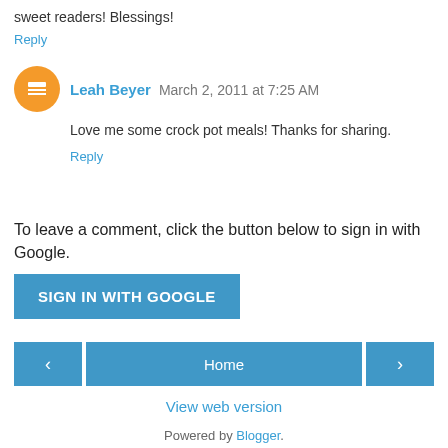sweet readers! Blessings!
Reply
Leah Beyer  March 2, 2011 at 7:25 AM
Love me some crock pot meals! Thanks for sharing.
Reply
To leave a comment, click the button below to sign in with Google.
SIGN IN WITH GOOGLE
Home
View web version
Powered by Blogger.